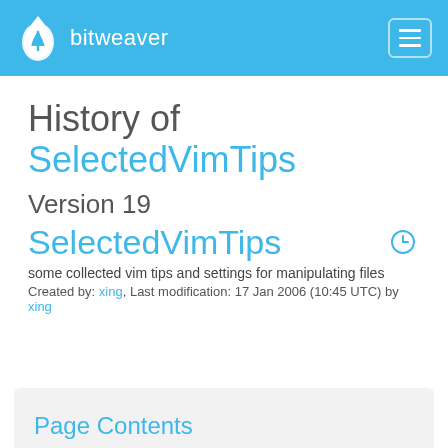bitweaver
History of SelectedVimTips
Version 19
SelectedVimTips
some collected vim tips and settings for manipulating files
Created by: xing, Last modification: 17 Jan 2006 (10:45 UTC) by xing
Page Contents